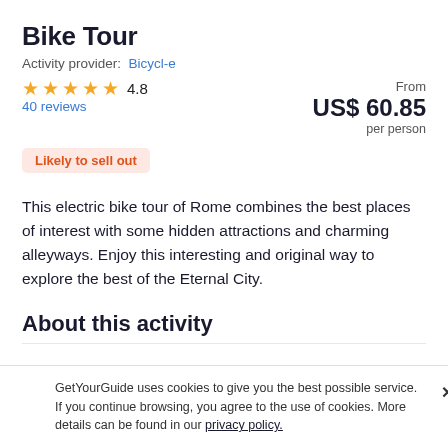Bike Tour
Activity provider:  Bicycl-e
★★★★★ 4.8
40 reviews
From
US$ 60.85
per person
Likely to sell out
This electric bike tour of Rome combines the best places of interest with some hidden attractions and charming alleyways. Enjoy this interesting and original way to explore the best of the Eternal City.
About this activity
GetYourGuide uses cookies to give you the best possible service. If you continue browsing, you agree to the use of cookies. More details can be found in our privacy policy.